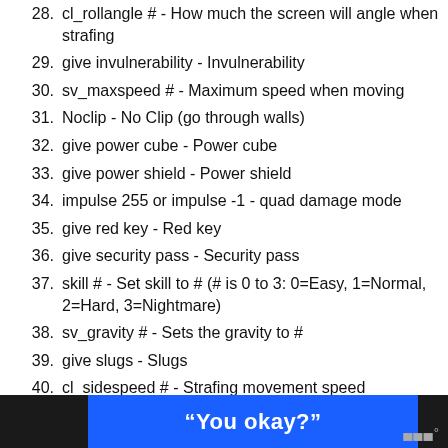28. cl_rollangle # - How much the screen will angle when strafing
29. give invulnerability - Invulnerability
30. sv_maxspeed # - Maximum speed when moving
31. Noclip - No Clip (go through walls)
32. give power cube - Power cube
33. give power shield - Power shield
34. impulse 255 or impulse -1 - quad damage mode
35. give red key - Red key
36. give security pass - Security pass
37. skill # - Set skill to # (# is 0 to 3: 0=Easy, 1=Normal, 2=Hard, 3=Nightmare)
38. sv_gravity # - Sets the gravity to #
39. give slugs - Slugs
40. cl_sidespeed # - Strafing movement speed
“You okay?”